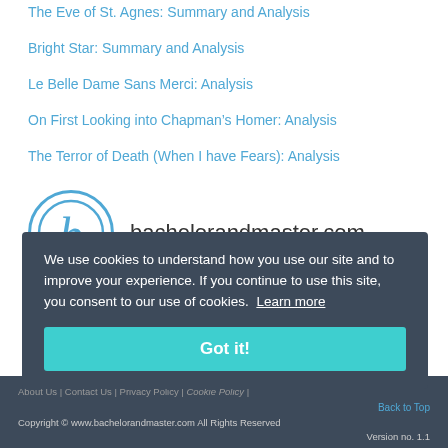The Eve of St. Agnes: Summary and Analysis
Bright Star: Summary and Analysis
Le Belle Dame Sans Merci: Analysis
On First Looking into Chapman's Homer: Analysis
The Terror of Death (When I have Fears): Analysis
[Figure (logo): bachelorandmaster.com logo — circular italic letter b in teal/blue, site name text]
We use cookies to understand how you use our site and to improve your experience. If you continue to use this site, you consent to our use of cookies. Learn more
Got it!
About Us | Contact Us | Privacy Policy | Cookie Policy |
Back to Top
Copyright © www.bachelorandmaster.com All Rights Reserved
Version no. 1.1